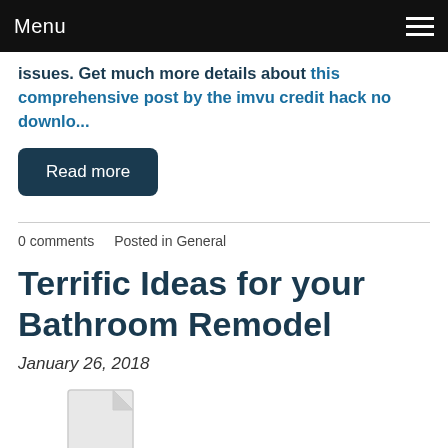Menu
issues. Get much more details about this comprehensive post by the imvu credit hack no downlo...
Read more
0 comments   Posted in General
Terrific Ideas for your Bathroom Remodel
January 26, 2018
[Figure (illustration): Document/file icon thumbnail at bottom of page]